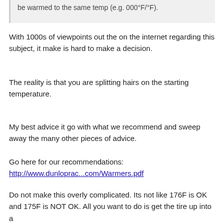be warmed to the same temp (e.g. 000°F/°F).
With 1000s of viewpoints out the on the internet regarding this subject, it make is hard to make a decision.
The reality is that you are splitting hairs on the starting temperature.
My best advice it go with what we recommend and sweep away the many other pieces of advice.

Go here for our recommendations:
http://www.dunloprac...com/Warmers.pdf
Do not make this overly complicated. Its not like 176F is OK and 175F is NOT OK. All you want to do is get the tire up into a